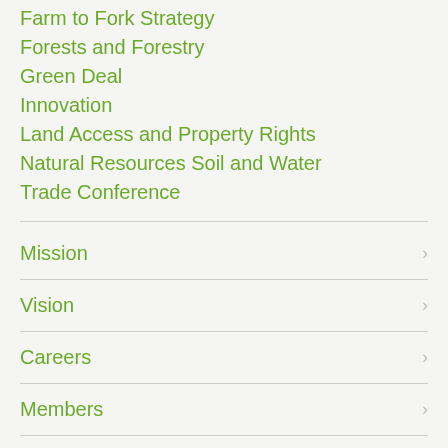Farm to Fork Strategy
Forests and Forestry
Green Deal
Innovation
Land Access and Property Rights
Natural Resources Soil and Water
Trade Conference
Mission
Vision
Careers
Members
Meet the Team
Our Office